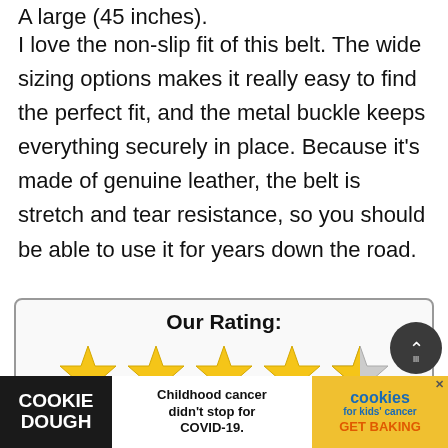A large (45 inches).
I love the non-slip fit of this belt. The wide sizing options makes it really easy to find the perfect fit, and the metal buckle keeps everything securely in place. Because it's made of genuine leather, the belt is stretch and tear resistance, so you should be able to use it for years down the road.
[Figure (other): Rating box showing 'Our Rating:' heading, four full gold stars and one half/grey star, and the numeric score '4.7 / 5']
[Figure (infographic): Advertisement banner at bottom: Cookie Dough / cookies for kids cancer. Text: Childhood cancer didn't stop for COVID-19. GET BAKING]